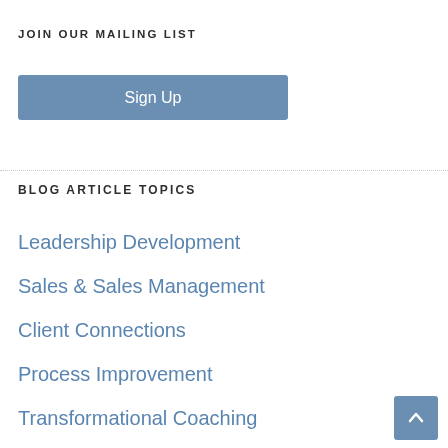JOIN OUR MAILING LIST
[Figure (other): Blue 'Sign Up' button for mailing list]
BLOG ARTICLE TOPICS
Leadership Development
Sales & Sales Management
Client Connections
Process Improvement
Transformational Coaching